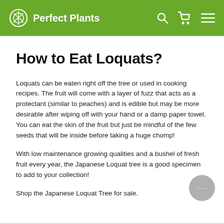Perfect Plants
How to Eat Loquats?
Loquats can be eaten right off the tree or used in cooking recipes. The fruit will come with a layer of fuzz that acts as a protectant (similar to peaches) and is edible but may be more desirable after wiping off with your hand or a damp paper towel. You can eat the skin of the fruit but just be mindful of the few seeds that will be inside before taking a huge chomp!
With low maintenance growing qualities and a bushel of fresh fruit every year, the Japanese Loquat tree is a good specimen to add to your collection!
Shop the Japanese Loquat Tree for sale.